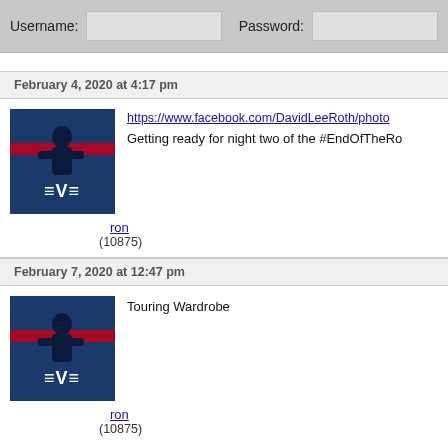Username: [input] Password: [input]
February 4, 2020 at 4:17 pm
[Figure (photo): Van Halen logo avatar - silhouette of guitarist with Van Halen wings logo on blue background with red stripe]
https://www.facebook.com/DavidLeeRoth/photo Getting ready for night two of the #EndOfTheRo
ron
(10875)
February 7, 2020 at 12:47 pm
[Figure (photo): Van Halen logo avatar - silhouette of guitarist with Van Halen wings logo on blue background with red stripe]
Touring Wardrobe
ron
(10875)